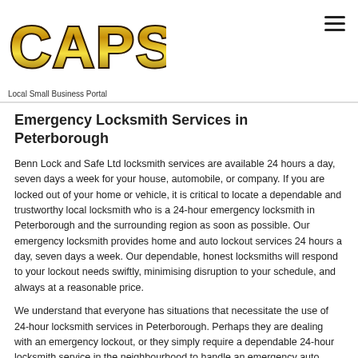[Figure (logo): Capsure logo in gold/yellow stylized text with black outline]
Local Small Business Portal
Emergency Locksmith Services in Peterborough
Benn Lock and Safe Ltd locksmith services are available 24 hours a day, seven days a week for your house, automobile, or company. If you are locked out of your home or vehicle, it is critical to locate a dependable and trustworthy local locksmith who is a 24-hour emergency locksmith in Peterborough and the surrounding region as soon as possible. Our emergency locksmith provides home and auto lockout services 24 hours a day, seven days a week. Our dependable, honest locksmiths will respond to your lockout needs swiftly, minimising disruption to your schedule, and always at a reasonable price.
We understand that everyone has situations that necessitate the use of 24-hour locksmith services in Peterborough. Perhaps they are dealing with an emergency lockout, or they simply require a dependable 24-hour locksmith service in the neighbourhood to handle an emergency auto locksmith operation to address a broken key or another issue. That